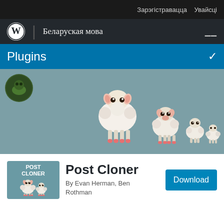Зарэгістравацца  Увайсці
Беларуская мова
Plugins
[Figure (illustration): Banner showing cartoon sheep of decreasing sizes on a teal/grey background, with a small circular avatar icon in the top left corner]
[Figure (illustration): Post Cloner plugin icon showing two cartoon sheep on a teal background with text POST CLONER]
Post Cloner
By Evan Herman, Ben Rothman
Download